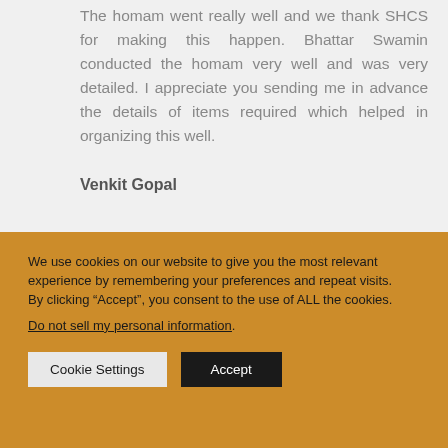The homam went really well and we thank SHCS for making this happen. Bhattar Swamin conducted the homam very well and was very detailed. I appreciate you sending me in advance the details of items required which helped in organizing this well.
Venkit Gopal
We use cookies on our website to give you the most relevant experience by remembering your preferences and repeat visits.
By clicking “Accept”, you consent to the use of ALL the cookies.
Do not sell my personal information.
Cookie Settings   Accept